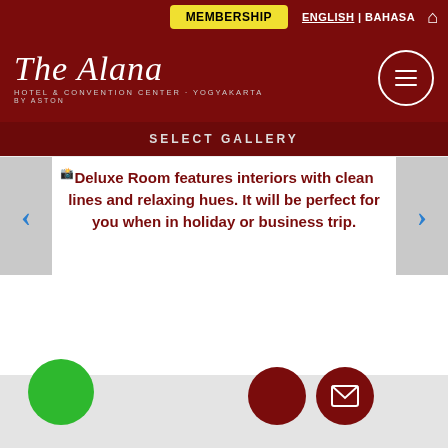MEMBERSHIP  ENGLISH | BAHASA  🏠
[Figure (logo): The Alana Hotel & Convention Center - Yogyakarta by Aston logo with hamburger menu circle icon]
SELECT GALLERY
Deluxe Room features interiors with clean lines and relaxing hues. It will be perfect for you when in holiday or business trip.
[Figure (infographic): Bottom action bar with green circle button, dark red circle button, and dark red circle button with envelope/mail icon]